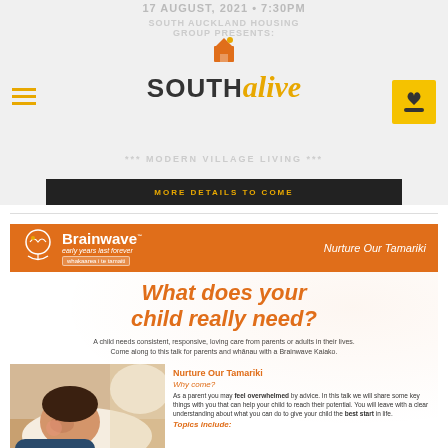17 AUGUST, 2021 • 7:30PM
[Figure (logo): South Alive logo with bird and house icon, text SOUTH alive]
SOUTH AUCKLAND HOUSING GROUP PRESENTS:
*** MODERN VILLAGE LIVING ***
MORE DETAILS TO COME
[Figure (logo): Brainwave logo - early years last forever, whakarea i te tamaiti]
Nurture Our Tamariki
What does your child really need?
A child needs consistent, responsive, loving care from parents or adults in their lives. Come along to this talk for parents and whānau with a Brainwave Kaiako.
[Figure (photo): Photo of a sleeping baby/young child resting on a white pillow]
Nurture Our Tamariki
Why come?
As a parent you may feel overwhelmed by advice. In this talk we will share some key things with you that can help your child to reach their potential. You will leave with a clear understanding about what you can do to give your child the best start in life.
Topics include: